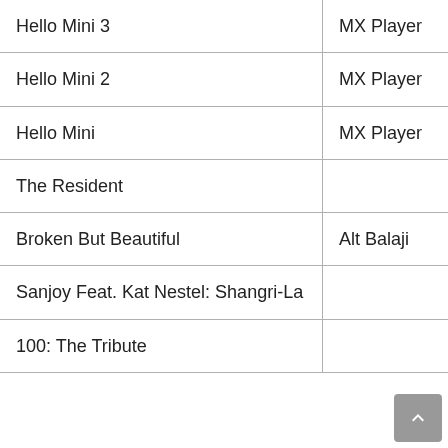| Hello Mini 3 | MX Player |
| Hello Mini 2 | MX Player |
| Hello Mini | MX Player |
| The Resident |  |
| Broken But Beautiful | Alt Balaji |
| Sanjoy Feat. Kat Nestel: Shangri-La |  |
| 100: The Tribute |  |